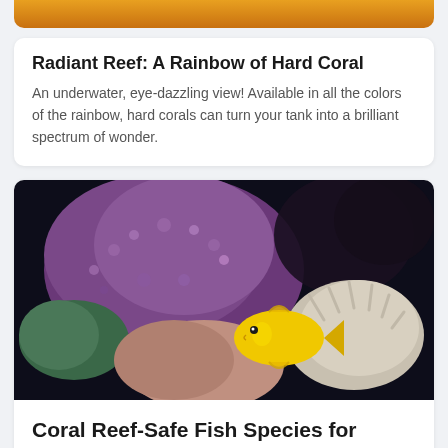[Figure (photo): Partial view of colorful hard coral reef, cropped at top of page]
Radiant Reef: A Rainbow of Hard Coral
An underwater, eye-dazzling view! Available in all the colors of the rainbow, hard corals can turn your tank into a brilliant spectrum of wonder.
[Figure (photo): Close-up underwater photo of purple/mauve hard coral with a bright yellow fish (tang) swimming near a sea anemone, dark background]
Coral Reef-Safe Fish Species for Saltwater